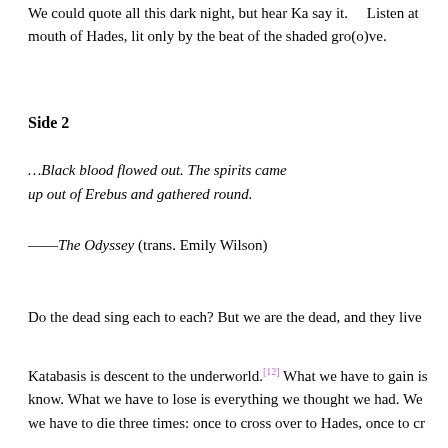We could quote all this dark night, but hear Ka say it.    Listen at mouth of Hades, lit only by the beat of the shaded gro(o)ve.
Side 2
…Black blood flowed out. The spirits came up out of Erebus and gathered round.
——The Odyssey (trans. Emily Wilson)
Do the dead sing each to each? But we are the dead, and they live
Katabasis is descent to the underworld.[12] What we have to gain is know. What we have to lose is everything we thought we had. We we have to die three times: once to cross over to Hades, once to cr